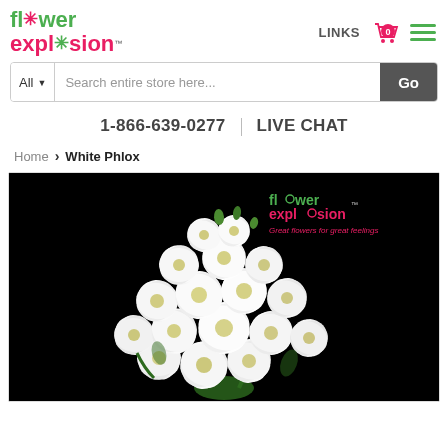[Figure (logo): Flower Explosion logo with green 'fl*wer' on top and pink 'expl*sion' below]
LINKS
0
All  ▼   Search entire store here...   Go
1-866-639-0277  |  LIVE CHAT
Home > White Phlox
[Figure (photo): White Phlox flower cluster on black background with Flower Explosion watermark logo and tagline 'Great flowers for great feelings']